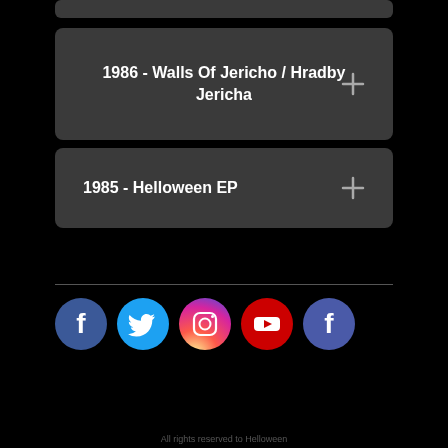1986 - Walls Of Jericho / Hradby Jericha
1985 - Helloween EP
[Figure (infographic): Social media icons row: Facebook (blue), Twitter (light blue), Instagram (gradient pink/purple), YouTube (red), Facebook (dark blue)]
All rights reserved to Helloween